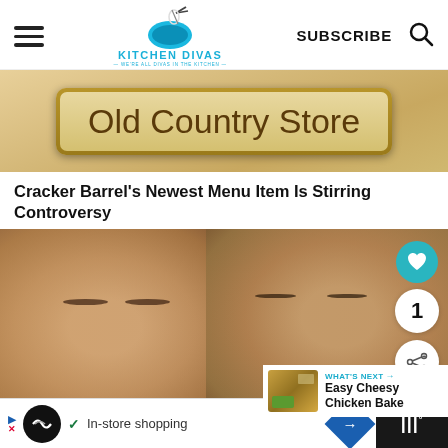KITCHEN DIVAS — WE'RE ALL DIVAS IN THE KITCHEN
[Figure (photo): Cracker Barrel Old Country Store sign, brown/tan background]
Cracker Barrel's Newest Menu Item Is Stirring Controversy
[Figure (photo): Close-up of a man and woman's faces side by side, with overlay UI elements: heart button, number 1 button, share button, and a 'WHAT'S NEXT Easy Cheesy Chicken Bake' panel]
WHAT'S NEXT → Easy Cheesy Chicken Bake
In-store shopping